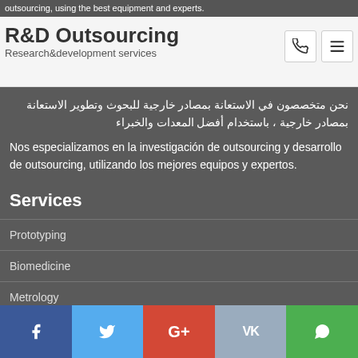outsourcing, using the best equipment and experts
R&D Outsourcing
Research&development services
نحن متخصصون في الاستعانة بمصادر خارجية للبحوث وتطوير الاستعانة بمصادر خارجية ، باستخدام أفضل المعدات والخبراء
Nos especializamos en la investigación de outsourcing y desarrollo de outsourcing, utilizando los mejores equipos y expertos.
Services
Prototyping
Biomedicine
Metrology
Tests
Products